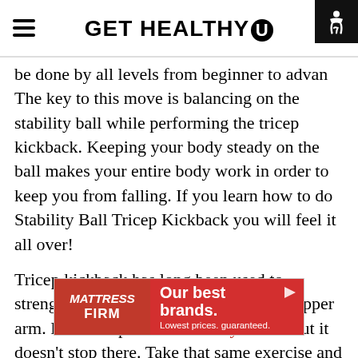GET HEALTHY U
be done by all levels from beginner to advanced. The key to this move is balancing on the stability ball while performing the tricep kickback. Keeping your body steady on the ball makes your entire body work in order to keep you from falling. If you learn how to do Stability Ball Tricep Kickback you will feel it all over!
Tricep kickback has long been used to strengthen and tighten the back of your upper arm. Ever complained of flabby arms? But it doesn't stop there. Take that same exercise and place you body on the stability ball. Now you have challenged all of the stabilizing muscles in your middle work to stabilize you. Get the
[Figure (other): Mattress Firm advertisement banner: red background, text 'Our best brands. Lowest prices. guaranteed.']